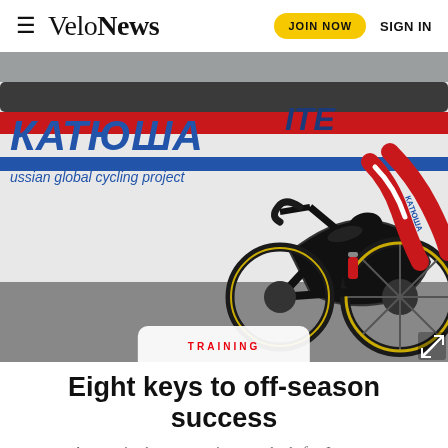≡ VeloNews | JOIN NOW | SIGN IN
[Figure (photo): A professional road bicycle leaning against a white team car with KATYUSHA branding in Cyrillic (КАТЮША) and text 'russian global cycling project'. A cyclist in red and white kit is partially visible in the background.]
TRAINING
Eight keys to off-season success
Autumn is about preparing your body for January. here are a few tips from Dr. Andy Pruitt on hitting